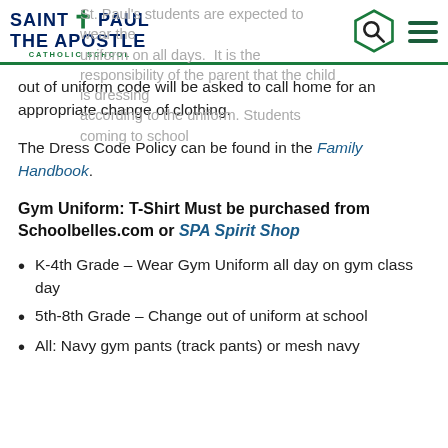SAINT PAUL THE APOSTLE CATHOLIC SCHOOL
St. Paul's students are expected to wear the uniform on all days. It is the responsibility of the parent that the child is dressing according to the uniform. Students coming to school out of uniform code will be asked to call home for an appropriate change of clothing.
The Dress Code Policy can be found in the Family Handbook.
Gym Uniform: T-Shirt Must be purchased from Schoolbelles.com or SPA Spirit Shop
K-4th Grade – Wear Gym Uniform all day on gym class day
5th-8th Grade – Change out of uniform at school
All: Navy gym pants (track pants) or mesh navy